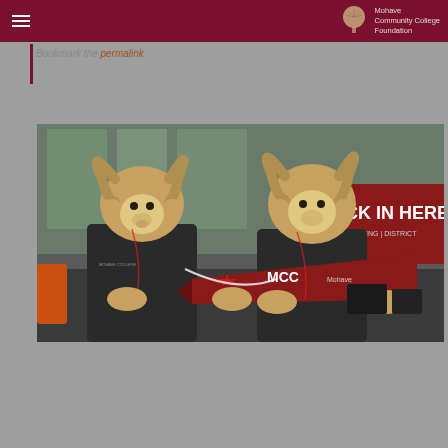Mohave Community College Foundation
Bookmark the permalink.
[Figure (photo): Two MCC bighorn sheep mascots in black t-shirts holding an MCC pennant inside a building. Background shows a red sign reading 'ECK IN HERE' and 'ADVISING | DISTRICT'. The mascots have large curled horns and are standing side by side.]